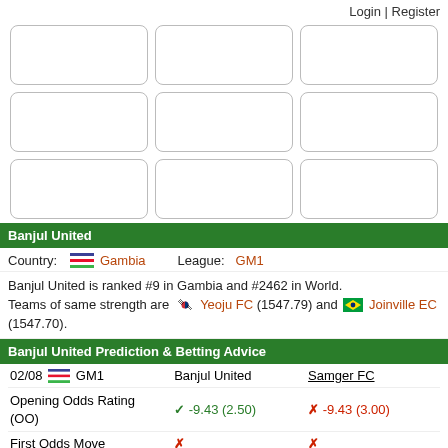Login | Register
[Figure (other): 3x3 grid of white rounded rectangle boxes (navigation/ad placeholders)]
Banjul United
Country: Gambia  League: GM1
Banjul United is ranked #9 in Gambia and #2462 in World. Teams of same strength are Yeoju FC (1547.79) and Joinville EC (1547.70).
Banjul United Prediction & Betting Advice
|  | Banjul United | Samger FC |
| --- | --- | --- |
| 02/08 GM1 | Banjul United | Samger FC |
| Opening Odds Rating (OO) | ✓ -9.43 (2.50) | ✗ -9.43 (3.00) |
| First Odds Move | ✗ | ✗ |
| Dropping Odds | ✗ | ✓ 3.00 > 2.95 |